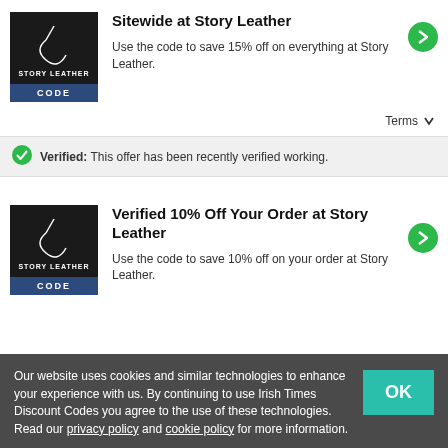[Figure (logo): Story Leather logo with brand name]
Sitewide at Story Leather
Use the code to save 15% off on everything at Story Leather.
Terms
Verified: This offer has been recently verified working.
[Figure (logo): Story Leather logo with brand name]
Verified 10% Off Your Order at Story Leather
Use the code to save 10% off on your order at Story Leather.
Our website uses cookies and similar technologies to enhance your experience with us. By continuing to use Irish Times Discount Codes you agree to the use of these technologies. Read our privacy policy and cookie policy for more information.